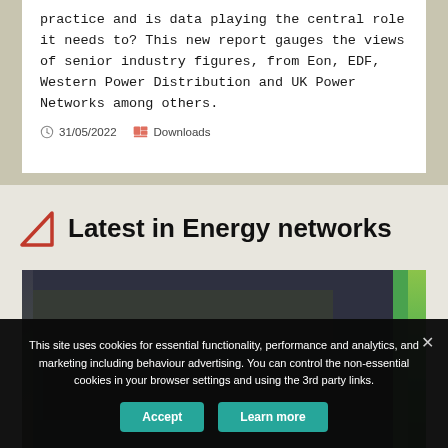practice and is data playing the central role it needs to? This new report gauges the views of senior industry figures, from Eon, EDF, Western Power Distribution and UK Power Networks among others.
31/05/2022   Downloads
Latest in Energy networks
[Figure (photo): Dark photo strip with green accent on the right side, partially visible behind cookie consent overlay]
This site uses cookies for essential functionality, performance and analytics, and marketing including behaviour advertising. You can control the non-essential cookies in your browser settings and using the 3rd party links.
Accept   Learn more